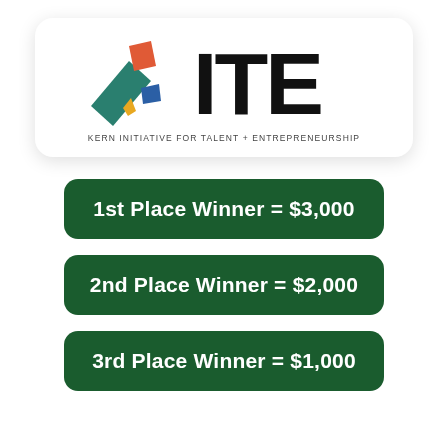[Figure (logo): KITE logo — Kern Initiative for Talent + Entrepreneurship — with colorful geometric kite shapes and bold ITE text]
1st Place Winner = $3,000
2nd Place Winner = $2,000
3rd Place Winner = $1,000